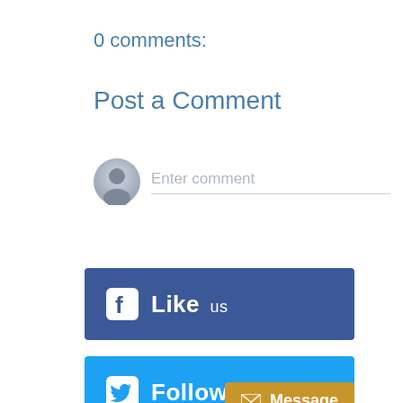0 comments:
Post a Comment
[Figure (illustration): Comment input area with a grey user avatar circle on the left and an 'Enter comment' placeholder text with a grey underline on the right]
[Figure (infographic): Facebook blue banner with Facebook icon and 'Like us' text in white]
[Figure (infographic): Twitter cyan banner with Twitter bird icon and 'Follow us' text in white, and a golden 'Message' button with envelope icon on the right]